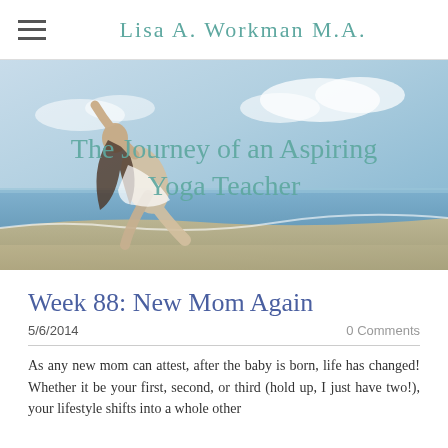Lisa A. Workman M.A.
[Figure (photo): Woman in white outfit performing a yoga pose on a beach with ocean and sky in the background, with overlaid text reading 'The Journey of an Aspiring Yoga Teacher']
Week 88: New Mom Again
5/6/2014    0 Comments
As any new mom can attest, after the baby is born, life has changed! Whether it be your first, second, or third (hold up, I just have two!), your lifestyle shifts into a whole other